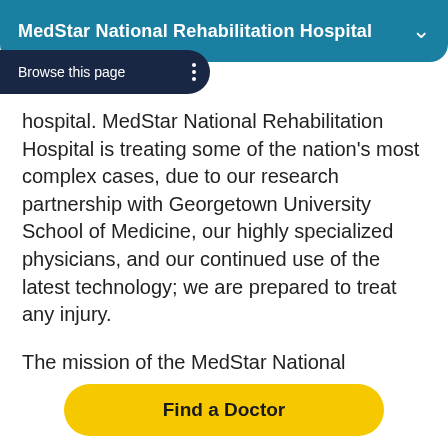MedStar National Rehabilitation Hospital
hospital. MedStar National Rehabilitation Hospital is treating some of the nation's most complex cases, due to our research partnership with Georgetown University School of Medicine, our highly specialized physicians, and our continued use of the latest technology; we are prepared to treat any injury.
The mission of the MedStar National Rehabilitation Network is to serve the community as a regional and national leader in rehabilitation services through five major areas:
Quality patient care in inpatient, outpatient, and day treatment programs